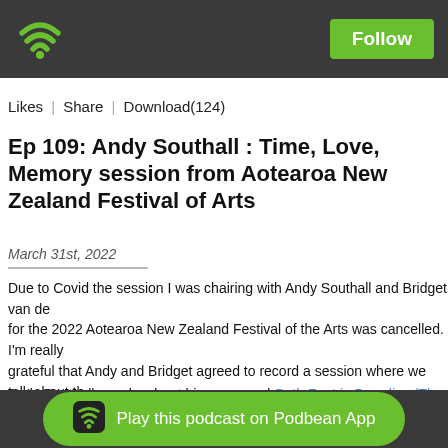[Figure (logo): Podbean wifi/podcast logo in green on dark grey header bar]
Follow
Likes | Share | Download(124)
Ep 109: Andy Southall : Time, Love, Memory session from Aotearoa New Zealand Festival of Arts
March 31st, 2022
Due to Covid the session I was chairing with Andy Southall and Bridget van de for the 2022 Aotearoa New Zealand Festival of the Arts was cancelled. I'm really grateful that Andy and Bridget agreed to record a session where we talk about th books under the session theme of Time, Love, Memory.
Andy Southall speaks about his new novel Both Feet in Paradise (The Cuba Pre
[Figure (logo): Podbean app icon in dark rounded square with wifi symbol]
Play this podcast on Podbean App